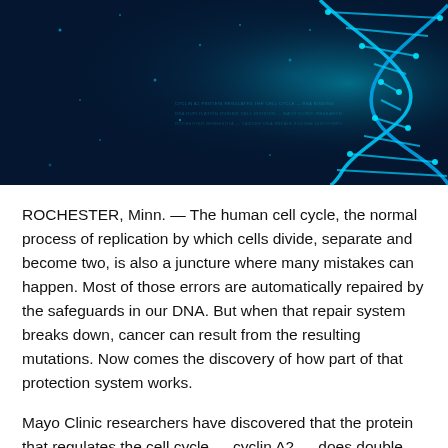[Figure (photo): Digital illustration of a glowing blue DNA double helix on a dark navy background with light particles and bokeh effects]
ROCHESTER, Minn. — The human cell cycle, the normal process of replication by which cells divide, separate and become two, is also a juncture where many mistakes can happen. Most of those errors are automatically repaired by the safeguards in our DNA. But when that repair system breaks down, cancer can result from the resulting mutations. Now comes the discovery of how part of that protection system works.
Mayo Clinic researchers have discovered that the protein that regulates the cell cycle — cyclin A2 — does double duty. In addition to its role as an RNA binding protein to coordinate DNA duplication during cell division, researchers have discovered that it also